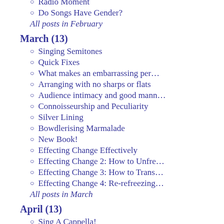Radio Moment
Do Songs Have Gender?
All posts in February
March (13)
Singing Semitones
Quick Fixes
What makes an embarrassing per…
Arranging with no sharps or flats
Audience intimacy and good mann…
Connoisseurship and Peculiarity
Silver Lining
Bowdlerising Marmalade
New Book!
Effecting Change Effectively
Effecting Change 2: How to Unfre…
Effecting Change 3: How to Trans…
Effecting Change 4: Re-refreezing…
All posts in March
April (13)
Sing A Cappella!
Connecting in the Capital
Gender and Gesture
Sing A Cappella – Further Observa…
Extremely Random Thoughts
Jiggering With Other People's Arra…
The Law of Benign Unintended Co…
On Rehearsal Vocabulary
Arranging Music History